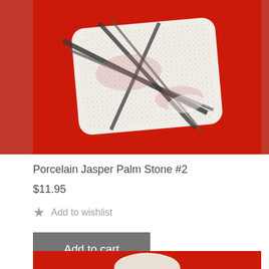[Figure (photo): Close-up photo of a Porcelain Jasper Palm Stone on a red velvet background. The stone is white/cream colored with dark gray and black veining patterns crossing diagonally.]
Porcelain Jasper Palm Stone #2
$11.95
Add to wishlist
Add to cart
[Figure (photo): Partial view of another product image showing a stone on a red background, cropped at the bottom of the page.]